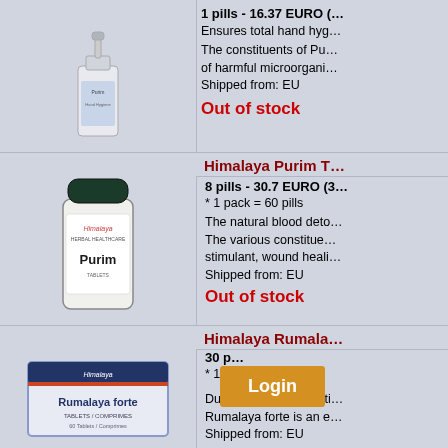[Figure (photo): Hand sanitizer pump bottle product image]
1 pills - 16.37 EURO (…
Ensures total hand hyg…
The constituents of Pu… of harmful microorgani… Shipped from: EU
Out of stock
Himalaya Purim T…
[Figure (photo): Himalaya Purim tablet bottle product image]
8 pills - 30.7 EURO (3…
* 1 pack = 60 pills
The natural blood deto… The various constitue… stimulant, wound heali… Shipped from: EU
Out of stock
Himalaya Rumala…
[Figure (photo): Himalaya Rumalaya forte tablet box product image]
30 p…
* 1 p…
Dual advantage arthriti… Rumalaya forte is an e… Shipped from: EU
Out of stock